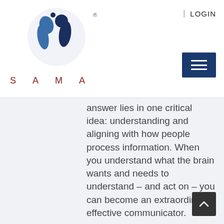[Figure (logo): SAMA logo with two circular figures and dark blue circular emblem, with registered trademark symbol]
| LOGIN
answer lies in one critical idea: understanding and aligning with how people process information. When you understand what the brain wants and needs to understand – and act on – you can become an extraordinarily effective communicator.
Oratium helps companies and executives match the power of their messages